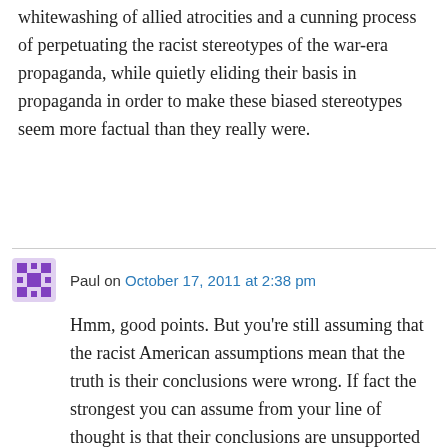whitewashing of allied atrocities and a cunning process of perpetuating the racist stereotypes of the war-era propaganda, while quietly eliding their basis in propaganda in order to make these biased stereotypes seem more factual than they really were.
Paul on October 17, 2011 at 2:38 pm
Hmm, good points. But you're still assuming that the racist American assumptions mean that the truth is their conclusions were wrong. If fact the strongest you can assume from your line of thought is that their conclusions are unsupported and untested. That doesn't mean they're wrong.
To be continu... (partial line cut off)